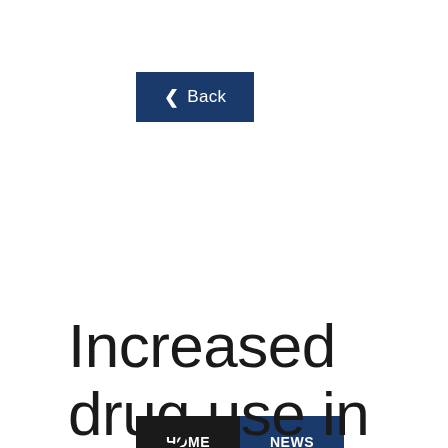[Figure (screenshot): Back navigation button with left arrow chevron on dark blue background]
HOME | NEWS
Increased drug use in